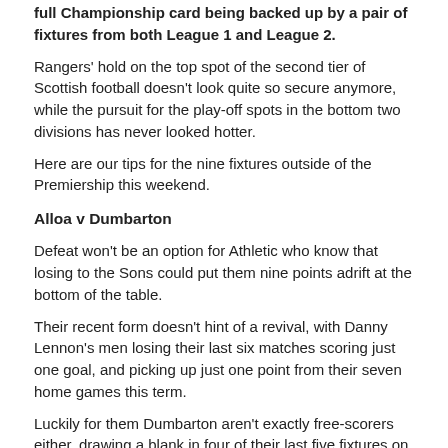full Championship card being backed up by a pair of fixtures from both League 1 and League 2.
Rangers' hold on the top spot of the second tier of Scottish football doesn't look quite so secure anymore, while the pursuit for the play-off spots in the bottom two divisions has never looked hotter.
Here are our tips for the nine fixtures outside of the Premiership this weekend.
Alloa v Dumbarton
Defeat won't be an option for Athletic who know that losing to the Sons could put them nine points adrift at the bottom of the table.
Their recent form doesn't hint of a revival, with Danny Lennon's men losing their last six matches scoring just one goal, and picking up just one point from their seven home games this term.
Luckily for them Dumbarton aren't exactly free-scorers either, drawing a blank in four of their last five fixtures on the road.
Best bet: Under 2.5 goals – 21/20
Falkirk v Livingston
The Bairns are well and truly keeping pressure on the top two in the Ladbrokes Championship, although dropping two points in their last match won't have been in the plan.